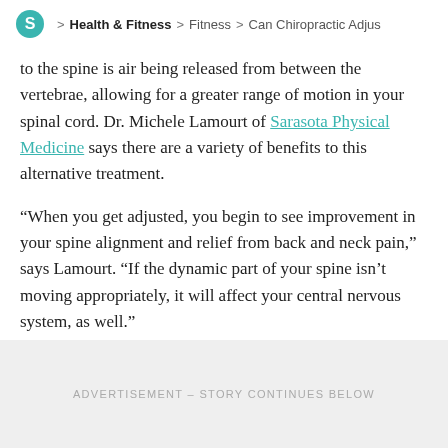S > Health & Fitness > Fitness > Can Chiropractic Adjus
to the spine is air being released from between the vertebrae, allowing for a greater range of motion in your spinal cord. Dr. Michele Lamourt of Sarasota Physical Medicine says there are a variety of benefits to this alternative treatment.
“When you get adjusted, you begin to see improvement in your spine alignment and relief from back and neck pain,” says Lamourt. “If the dynamic part of your spine isn’t moving appropriately, it will affect your central nervous system, as well.”
ADVERTISEMENT - STORY CONTINUES BELOW